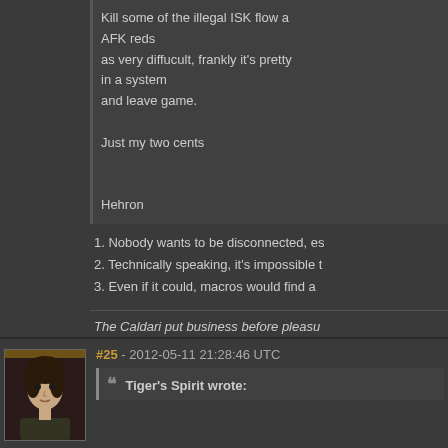Kill some of the illegal ISK flow a... AFK reds as very diffucult, frankly it's pretty... in a system and leave game.
Just my two cents
Hehron
1. Nobody wants to be disconnected, es...
2. Technically speaking, it's impossible t...
3. Even if it could, macros would find a ...
The Caldari put business before pleasu...
#25 - 2012-05-11 21:28:46 UTC
Tiger's Spirit wrote: